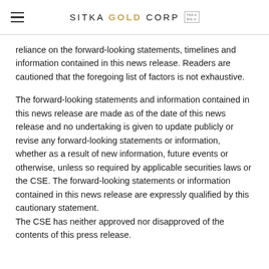SITKA GOLD CORP
reliance on the forward-looking statements, timelines and information contained in this news release. Readers are cautioned that the foregoing list of factors is not exhaustive.
The forward-looking statements and information contained in this news release are made as of the date of this news release and no undertaking is given to update publicly or revise any forward-looking statements or information, whether as a result of new information, future events or otherwise, unless so required by applicable securities laws or the CSE. The forward-looking statements or information contained in this news release are expressly qualified by this cautionary statement.
The CSE has neither approved nor disapproved of the contents of this press release.